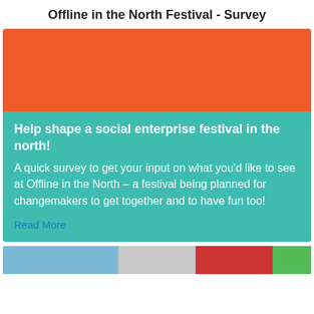Offline in the North Festival - Survey
[Figure (photo): Orange banner/header image block for the festival survey card]
Help shape a social enterprise festival in the north!
A quick survey to get your input on what you'd like to see at Offline in the North - a festival being planned for changemakers to get together and to have fun too!
Read More
[Figure (photo): Partial photo strip at the bottom of the page showing people at an outdoor event]